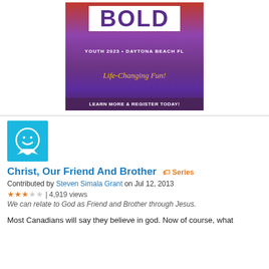[Figure (illustration): BOLD Youth 2023 Daytona Beach FL banner with 'Life-Changing Fun!' tagline and 'Learn More & Register Today!' call to action]
[Figure (illustration): Blue square icon with a smiley face in a speech bubble]
Christ, Our Friend And Brother  Series
Contributed by Steven Simala Grant on Jul 12, 2013
★★★☆☆ | 4,919 views
We can relate to God as Friend and Brother through Jesus.
Most Canadians will say they believe in god. Now of course, what